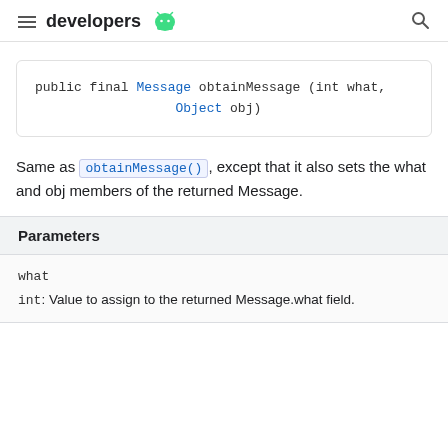developers
Same as obtainMessage(), except that it also sets the what and obj members of the returned Message.
| Parameters |
| --- |
| what | int: Value to assign to the returned Message.what field. |